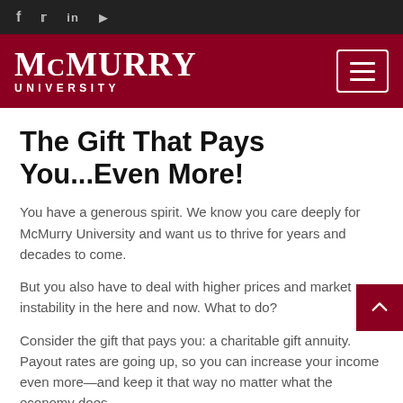f  t  in  yt (social media icons)
[Figure (logo): McMurry University logo white text on dark red background with hamburger menu button]
The Gift That Pays You...Even More!
You have a generous spirit. We know you care deeply for McMurry University and want us to thrive for years and decades to come.
But you also have to deal with higher prices and market instability in the here and now. What to do?
Consider the gift that pays you: a charitable gift annuity. Payout rates are going up, so you can increase your income even more—and keep it that way no matter what the economy does.